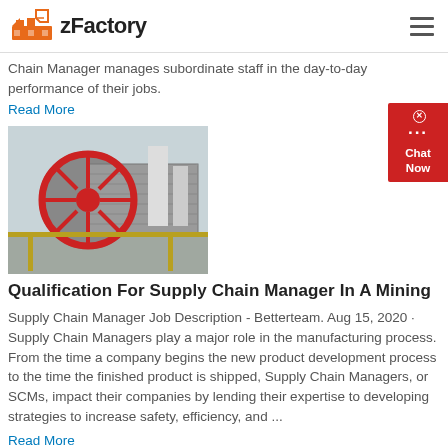zFactory
Chain Manager manages subordinate staff in the day-to-day performance of their jobs.
Read More
[Figure (photo): Industrial ball mill machine at a mining facility, showing a large cylindrical drum with red wheel and metal framework.]
Qualification For Supply Chain Manager In A Mining
Supply Chain Manager Job Description - Betterteam. Aug 15, 2020 · Supply Chain Managers play a major role in the manufacturing process. From the time a company begins the new product development process to the time the finished product is shipped, Supply Chain Managers, or SCMs, impact their companies by lending their expertise to developing strategies to increase safety, efficiency, and ...
Read More